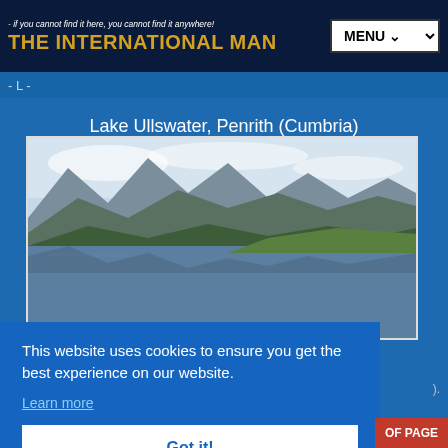- if you cannot find it here, you cannot find it anywhere! THE INTERNATIONAL MAN  MENU
- L -
Lake Ullswater, Penrith (Cumbria)
[Figure (photo): Photograph of Lake Ullswater showing calm lake water reflecting mountains and green hills under a pale sky]
This website uses cookies to ensure you get the best experience on our website.
Learn more
Got it!
NORTHCOTE * (Chef: Nigel Haworth). At Blackburn
OF PAGE